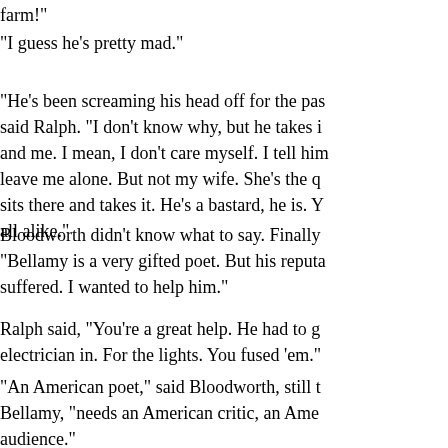farm!"
"I guess he's pretty mad."
"He's been screaming his head off for the pas said Ralph. "I don't know why, but he takes i and me. I mean, I don't care myself. I tell him leave me alone. But not my wife. She's the q sits there and takes it. He's a bastard, he is. Y all alike."
Bloodworth didn't know what to say. Finally "Bellamy is a very gifted poet. But his reputa suffered. I wanted to help him."
Ralph said, "You're a great help. He had to g electrician in. For the lights. You fused 'em."
"An American poet," said Bloodworth, still t Bellamy, "needs an American critic, an Ame audience."
Ralph said, "Hey, is it true that one third of a food in America is eaten by human beings?"